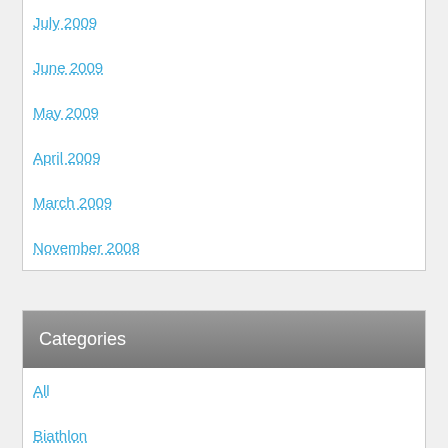July 2009
June 2009
May 2009
April 2009
March 2009
November 2008
Categories
All
Biathlon